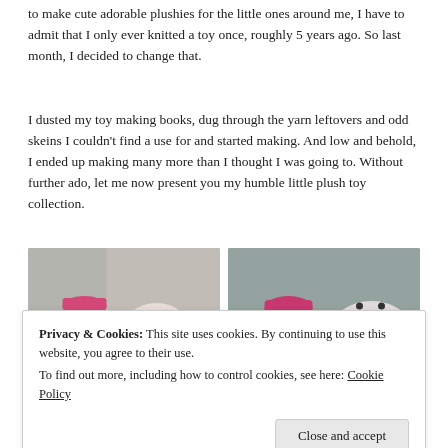to make cute adorable plushies for the little ones around me, I have to admit that I only ever knitted a toy once, roughly 5 years ago. So last month, I decided to change that.
I dusted my toy making books, dug through the yarn leftovers and odd skeins I couldn't find a use for and started making. And low and behold, I ended up making many more than I thought I was going to. Without further ado, let me now present you my humble little plush toy collection.
[Figure (photo): Two photos side by side showing crocheted plush toys — small monkey and striped blob plushies in pink, rainbow, and pastel colors, photographed on a sofa.]
Privacy & Cookies: This site uses cookies. By continuing to use this website, you agree to their use.
To find out more, including how to control cookies, see here: Cookie Policy
[Figure (photo): Two partial photos at the bottom of the page showing more crocheted plush toys.]